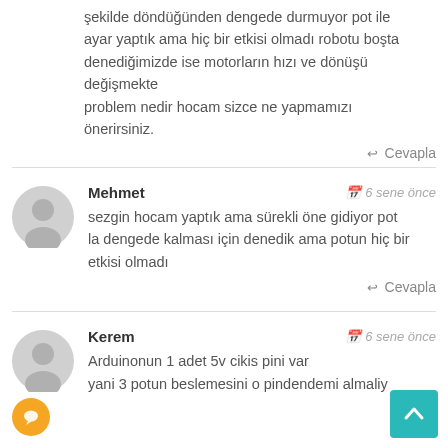Hocam robotun tekerleri sürekli doğru hızlı bir şekilde döndüğünden dengede durmuyor pot ile ayar yaptık ama hiç bir etkisi olmadı robotu boşta denediğimizde ise motorların hızı ve dönüşü değişmekte
problem nedir hocam sizce ne yapmamızı önerirsiniz.
↩ Cevapla
Mehmet   🗓 6 sene önce
sezgin hocam yaptık ama sürekli öne gidiyor pot la dengede kalması için denedik ama potun hiç bir etkisi olmadı
↩ Cevapla
Kerem   🗓 6 sene önce
Arduinonun 1 adet 5v cikis pini var yani 3 potun beslemesini o pindendemi almaliy